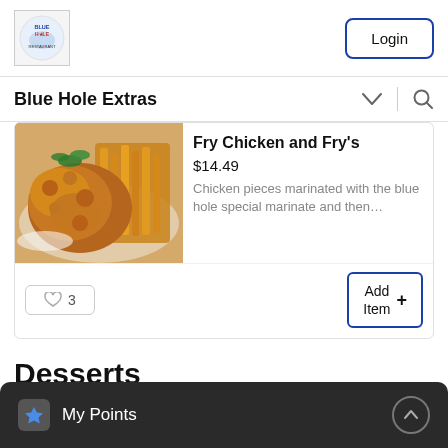[Figure (logo): Blue Hole restaurant logo — circular emblem with text BLUE HOLE]
Login
Blue Hole Extras
Fry Chicken and Fry's
$14.49
Chicken pieces marinated with the blue hole special marinate and then…
3
Add Item +
Desserts
My Points